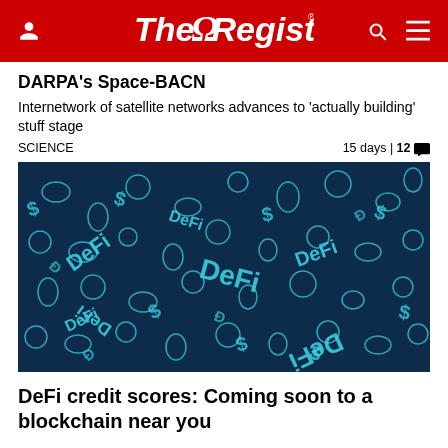The Register
DARPA's Space-BACN
Internetwork of satellite networks advances to 'actually building' stuff stage
SCIENCE   15 days | 12
[Figure (photo): Dark blue background with scattered teal/cyan DeFi cryptocurrency symbols, icons and text in various orientations]
DeFi credit scores: Coming soon to a blockchain near you